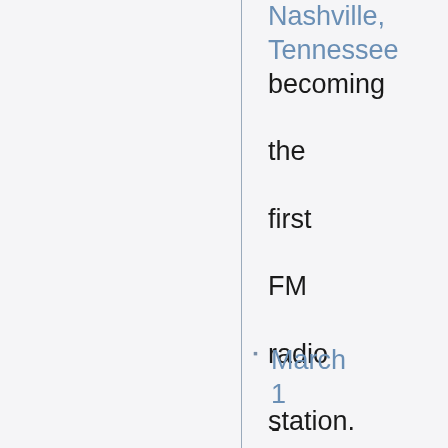Nashville, Tennessee becoming the first FM radio station.
March 1 - Arthur L. Bristol becomes Bear